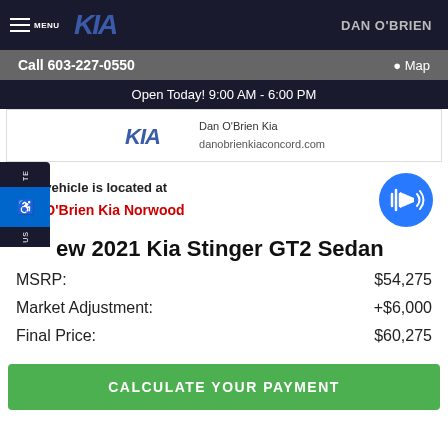MENU | KIA | DAN O'BRIEN
Call 603-227-0550   Map
Open Today! 9:00 AM - 6:00 PM
[Figure (logo): Kia logo and Dan O'Brien Kia dealership info with danobrienkiaconcord.com]
This vehicle is located at Dan O'Brien Kia Norwood
ew 2021 Kia Stinger GT2 Sedan
|  |  |
| --- | --- |
| MSRP: | $54,275 |
| Market Adjustment: | +$6,000 |
| Final Price: | $60,275 |
CALCULATE YOUR PAYMENT